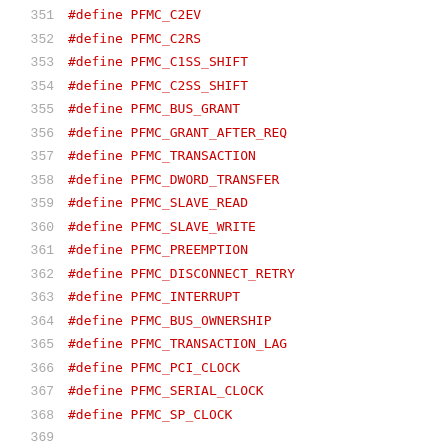351   #define PFMC_C2EV
352   #define PFMC_C2RS
353   #define PFMC_C1SS_SHIFT
354   #define PFMC_C2SS_SHIFT
355   #define PFMC_BUS_GRANT
356   #define PFMC_GRANT_AFTER_REQ
357   #define PFMC_TRANSACTION
358   #define PFMC_DWORD_TRANSFER
359   #define PFMC_SLAVE_READ
360   #define PFMC_SLAVE_WRITE
361   #define PFMC_PREEMPTION
362   #define PFMC_DISCONNECT_RETRY
363   #define PFMC_INTERRUPT
364   #define PFMC_BUS_OWNERSHIP
365   #define PFMC_TRANSACTION_LAG
366   #define PFMC_PCI_CLOCK
367   #define PFMC_SERIAL_CLOCK
368   #define PFMC_SP_CLOCK
369
370   /*
371    *  The following defines are for the flags in